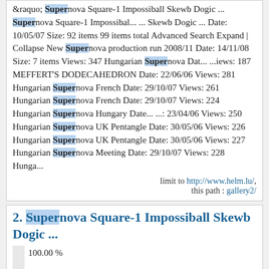«; Georges Helm's Cube Collection » Supernova Square-1 Impossiball Skewb Dogic ... Supernova Square-1 Impossibal... ... Skewb Dogic ... Date: 10/05/07 Size: 92 items 99 items total Advanced Search Expand | Collapse New Supernova production run 2008/11 Date: 14/11/08 Size: 7 items Views: 347 Hungarian Supernova Dat... ...iews: 187 MEFFERT'S DODECAHEDRON Date: 22/06/06 Views: 281 Hungarian Supernova French Date: 29/10/07 Views: 261 Hungarian Supernova French Date: 29/10/07 Views: 224 Hungarian Supernova Hungary Date... ...: 23/04/06 Views: 250 Hungarian Supernova UK Pentangle Date: 30/05/06 Views: 226 Hungarian Supernova UK Pentangle Date: 30/05/06 Views: 227 Hungarian Supernova Meeting Date: 29/10/07 Views: 228 Hunga...
limit to http://www.helm.lu/, this path : gallery2/
2. Supernova Square-1 Impossiball Skewb Dogic ...
100.00 %
...; Login « Sidebar Georges Helm's Galleries